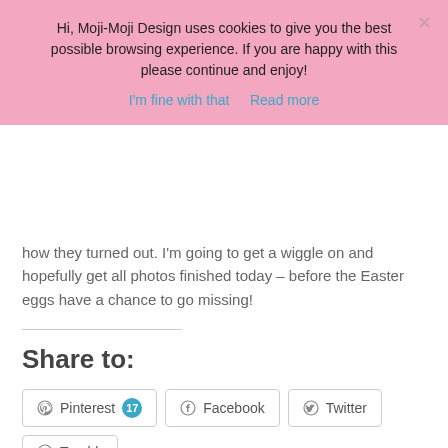Hi, Moji-Moji Design uses cookies to give you the best possible browsing experience. If you are happy with this please continue and enjoy!
I'm fine with that   Read more
how they turned out. I'm going to get a wiggle on and hopefully get all photos finished today – before the Easter eggs have a chance to go missing!
Share to:
Pinterest 17  Facebook  Twitter  Tumblr  More
Like this: